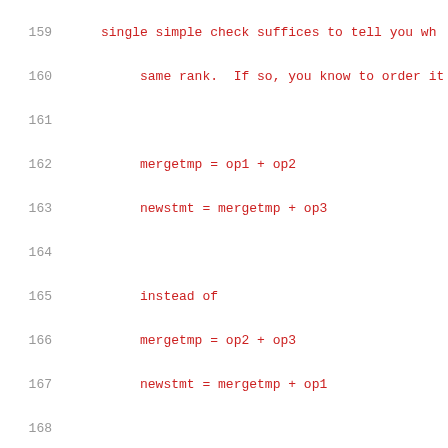159   single simple check suffices to tell you wh
160        same rank.  If so, you know to order it
161
162        mergetmp = op1 + op2
163        newstmt = mergetmp + op3
164
165        instead of
166        mergetmp = op2 + op3
167        newstmt = mergetmp + op1
168
169        If all three are of the same rank, you can'
170        single binary operator anyway, so the above
171        can do.
172
173        Thus, this is what we do.  When we have thr
174        what order to put them in, and call it a da
175        reduction, we check if any of the ops are r
176        destructive update for the associating op,
177        update together for vector sum reduction re
178
179   /* Enable insertion of __builtin_powi calls dur
180        point 3a in the pass header comment.  */